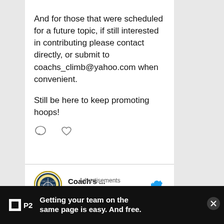And for those that were scheduled for a future topic, if still interested in contributing please contact directly, or submit to coachs_climb@yahoo.com when convenient.

Still be here to keep promoting hoops!
[Figure (screenshot): Twitter tweet by Coach's ... (@C...) posted 15h ago with hashtag #52WeekCoaching, showing profile avatar with circular logo]
Advertisements
Getting your team on the same page is easy. And free.